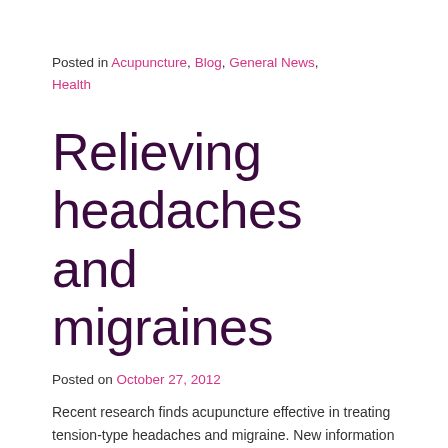Posted in Acupuncture, Blog, General News, Health
Relieving headaches and migraines
Posted on October 27, 2012
Recent research finds acupuncture effective in treating tension-type headaches and migraine. New information released by NICE (National Institute of Health and Clinical Excellence) today reported medication overuse is one of the most